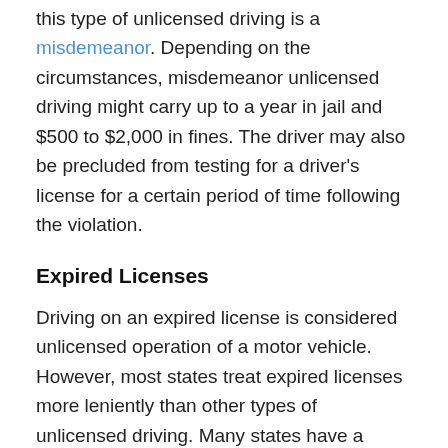this type of unlicensed driving is a misdemeanor. Depending on the circumstances, misdemeanor unlicensed driving might carry up to a year in jail and $500 to $2,000 in fines. The driver may also be precluded from testing for a driver's license for a certain period of time following the violation.
Expired Licenses
Driving on an expired license is considered unlicensed operation of a motor vehicle. However, most states treat expired licenses more leniently than other types of unlicensed driving. Many states have a grace period (30 days or so) in which violators will just get a warning or will assess only a small fine of like $25 for violations.